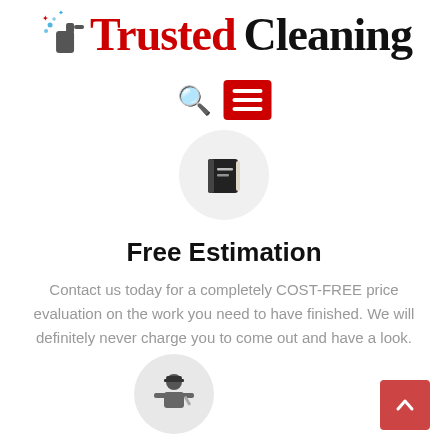[Figure (logo): Trusted Cleaning logo with spray bottle icon. 'Trusted' in red serif font, 'Cleaning' in black serif font.]
[Figure (infographic): Navigation bar with search icon and red hamburger menu button]
[Figure (illustration): Notebook/book icon in a light gray circle]
Free Estimation
Contact us today for a completely COST-FREE price evaluation on the work you need to have finished. We will definitely never charge you to come out and have a look.
[Figure (illustration): Worker/technician icon in a light gray circle]
[Figure (infographic): Back to top red square button with upward chevron arrow]